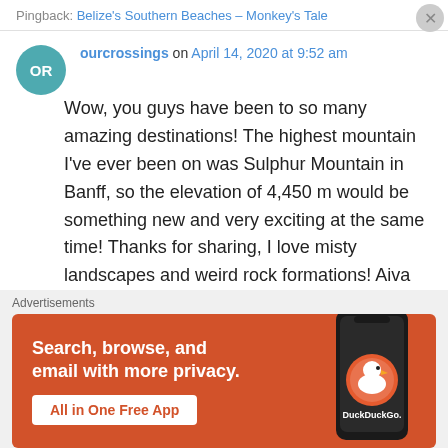Pingback: Belize's Southern Beaches – Monkey's Tale
ourcrossings on April 14, 2020 at 9:52 am
Wow, you guys have been to so many amazing destinations! The highest mountain I've ever been on was Sulphur Mountain in Banff, so the elevation of 4,450 m would be something new and very exciting at the same time! Thanks for sharing, I love misty landscapes and weird rock formations! Aiva
Liked by 1 person
Advertisements
[Figure (screenshot): DuckDuckGo advertisement banner with orange background. Text reads: Search, browse, and email with more privacy. All in One Free App. Shows a phone with DuckDuckGo logo.]